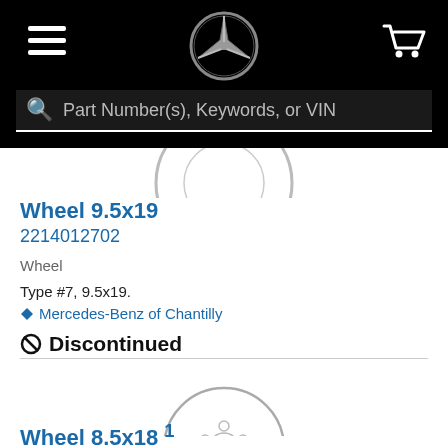Mercedes-Benz parts catalog header with search bar: Part Number(s), Keywords, or VIN
[Figure (illustration): Partial Mercedes-Benz wheel (9.5x19) product image, cropped at top]
Wheel 9.5x19
2214012702
Wheel
Type #7, 9.5x19.
Mercedes-Benz of Chantilly
Discontinued
[Figure (illustration): Mercedes-Benz wheel 8.5x18 product image showing a wheel with 5-spoke hub design]
Wheel 8.5x18 1